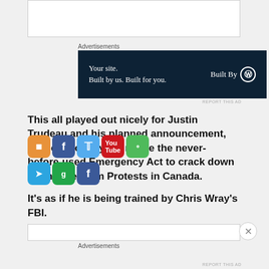[Figure (screenshot): Top white box placeholder area]
Advertisements
[Figure (screenshot): Advertisement banner: Your site. Built by us. Built for you. Built By WordPress]
This all played out nicely for Justin Trudeau and his planned announcement, also on Monday, to invoke the never-before-used Emergency Act to crack down on the Freedom Protests in Canada.
It’s as if he is being trained by Chris Wray’s FBI.
Advertisements